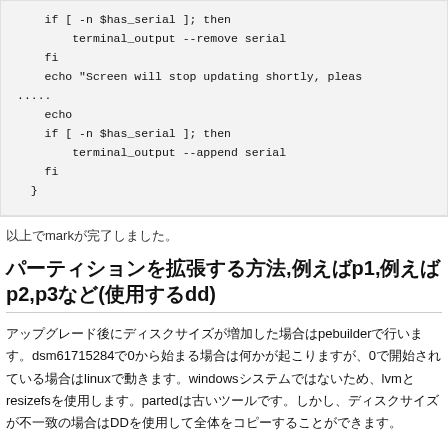[Figure (screenshot): Code block showing shell script snippet with if/fi blocks and echo statements]
以上でmarkが完了しました。
パーティションを拡張する方法,例えばp1,例えばp2,p3など(使用するdd)
アップグレード後にディスクサイズが増加した場合はpebuilderで行います。dsm61715284で0から始まる場合は何かが起こりますが、Oで開始されている場合はlinuxで動きます。windowsシステムではないため、lvmとresizefsを使用します。partedは古いツールです。しかし、ディスクサイズが不一致の場合はDDを使用して全体をコピーすることができます。